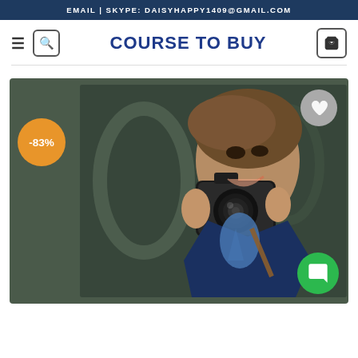EMAIL | SKYPE: DAISYHAPPY1409@GMAIL.COM
COURSE TO BUY
[Figure (photo): Screenshot of an e-commerce/course website showing a man in a navy suit holding a camera up to his face, smiling. An orange badge shows -83% discount. A grey heart wishlist button is top-right, a green chat button is bottom-right.]